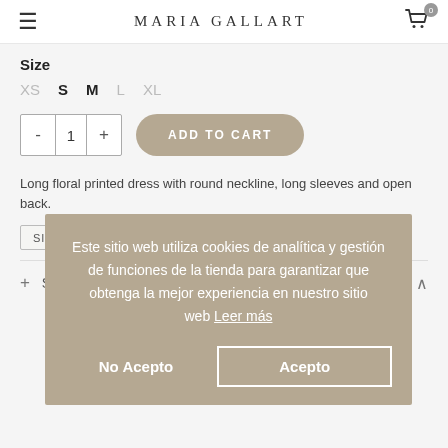MARIA GALLART
Size
XS  S  M  L  XL
- 1 +   ADD TO CART
Long floral printed dress with round neckline, long sleeves and open back.
SIZE GUIDE
Este sitio web utiliza cookies de analítica y gestión de funciones de la tienda para garantizar que obtenga la mejor experiencia en nuestro sitio web  Leer más
No Acepto
Acepto
+ Size & Fit